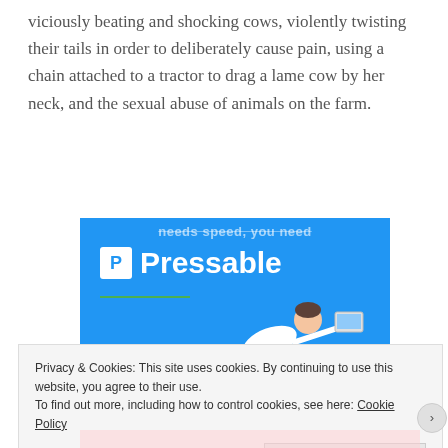viciously beating and shocking cows, violently twisting their tails in order to deliberately cause pain, using a chain attached to a tractor to drag a lame cow by her neck, and the sexual abuse of animals on the farm.
[Figure (illustration): Advertisement banner for Pressable web hosting service. Blue background with 'Pressable' logo (white P in a white box) and text. A green underline beneath the brand. A person leaping/flying horizontally holding a laptop. A teal outlined button at bottom right.]
Privacy & Cookies: This site uses cookies. By continuing to use this website, you agree to their use.
To find out more, including how to control cookies, see here: Cookie Policy
Close and accept